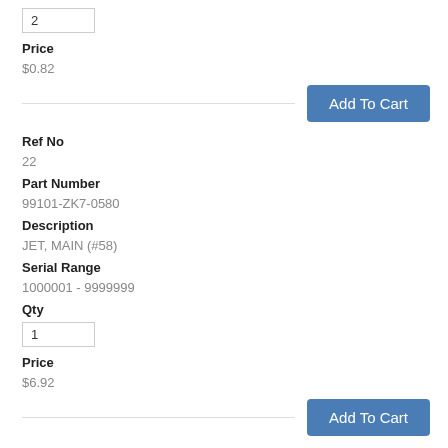2
Price
$0.82
Add To Cart
Ref No
22
Part Number
99101-ZK7-0580
Description
JET, MAIN (#58)
Serial Range
1000001 - 9999999
Qty
1
Price
$6.92
Add To Cart